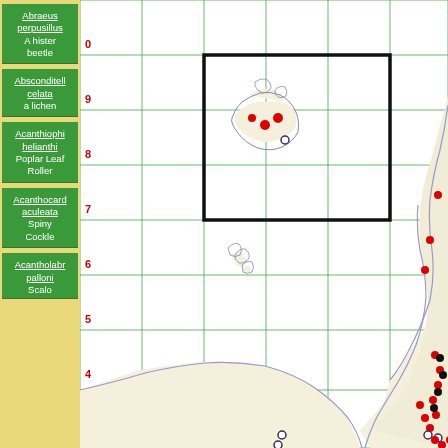Abraeus perpusillus
A hister beetle
Absconditella celata
a lichen
Acanthiophilus helianthi
Poplar Leaf Roller
Acanthocardio aculeata
Spiny Cockle
Acantholabrus palloni
Scalo
[Figure (map): Grid map of UK/Scotland region showing species occurrence points. Red filled circles and open circles mark species locations. A bold black rectangle highlights a region in the northern grid squares (around grid 8-9). Grid lines in green with red numeric labels (0,9,8,7,6,5,4,3) on left axis. Coastline and land borders shown in light beige/tan with blue-purple boundary lines. Cluster of occurrence points visible near top (Orkney/Shetland area) and along eastern coast.]